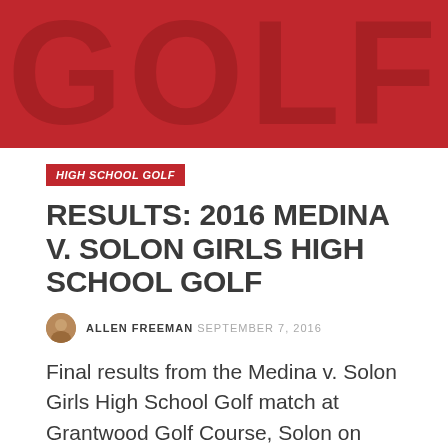[Figure (photo): Red background hero banner with large stylized 'GOLF' text in dark red, partially visible.]
HIGH SCHOOL GOLF
RESULTS: 2016 MEDINA V. SOLON GIRLS HIGH SCHOOL GOLF
ALLEN FREEMAN  SEPTEMBER 7, 2016
Final results from the Medina v. Solon Girls High School Golf match at Grantwood Golf Course, Solon on Wednesday, September 7th.